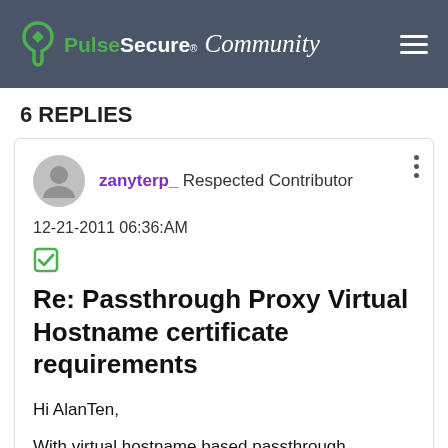Pulse Secure Community
6 REPLIES
zanyterp_  Respected Contributor
12-21-2011 06:36:AM
Re: Passthrough Proxy Virtual Hostname certificate requirements
Hi AlanTen,
With virtual hostname based passthrough